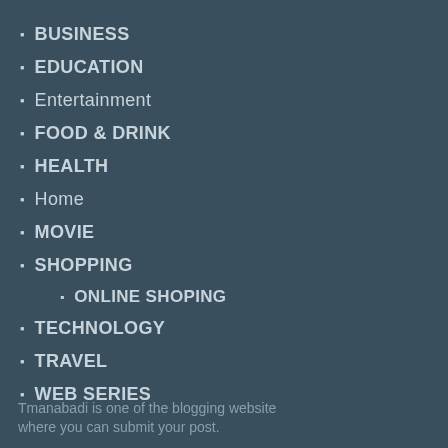BUSINESS
EDUCATION
Entertainment
FOOD & DRINK
HEALTH
Home
MOVIE
SHOPPING
ONLINE SHOPING
TECHNOLOGY
TRAVEL
WEB SERIES
Tmanabadi is one of the blogging website where you can submit your post.